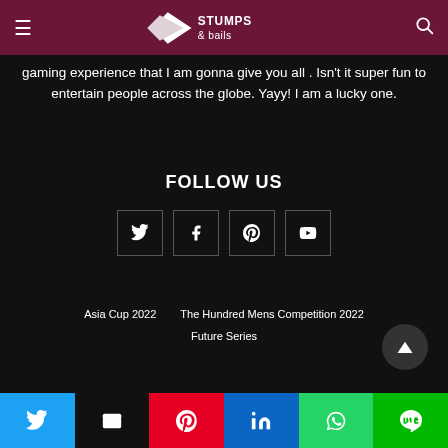Stumps & Bails — site header with navigation menu icon, logo, and search icon
gaming experience that I am gonna give you all . Isn't it super fun to entertain people across the globe. Yayy! I am a lucky one.
FOLLOW US
[Figure (other): Four social media icon boxes: Twitter (bird), Facebook (f), Pinterest (p), YouTube (play triangle)]
Asia Cup 2022
The Hundred Mens Competition 2022
Future Series
[Figure (other): Scroll-to-top button (dark circle with upward triangle)]
Share bar: Twitter, Email, Pinterest, LinkedIn, WhatsApp, LINE